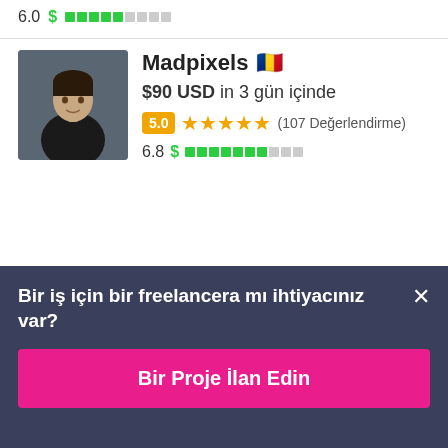[Figure (screenshot): Top rating row showing score 6.0 with a dollar sign and green bar segments indicating partial fill]
[Figure (photo): Profile photo of user Madpixels, a young man in dark clothing]
Madpixels 🇷🇴
$90 USD in 3 gün içinde
5.0 ★★★★★ (107 Değerlendirme)
6.8 $ ████████░░░
Bir iş için bir freelancera mı ihtiyacınız var? ×
Bir Proje İlan Edin